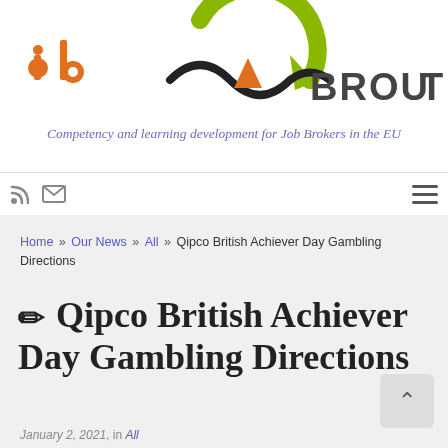[Figure (logo): Job Brokers in EU project logo with orange dot, stylized letters, green recycling arrow, and dark wave, with text BROUTER partially visible]
Competency and learning development for Job Brokers in the EU
[Figure (infographic): Navigation icons: RSS feed icon and email/envelope icon on left; hamburger menu icon on right]
Home » Our News » All » Qipco British Achiever Day Gambling Directions
✏ Qipco British Achiever Day Gambling Directions
January 2, 2021, in All